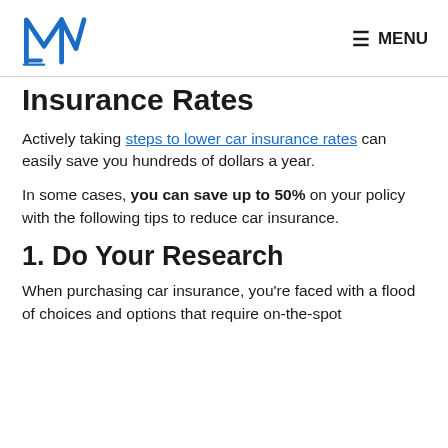MENU
Insurance Rates
Actively taking steps to lower car insurance rates can easily save you hundreds of dollars a year.
In some cases, you can save up to 50% on your policy with the following tips to reduce car insurance.
1. Do Your Research
When purchasing car insurance, you're faced with a flood of choices and options that require on-the-spot